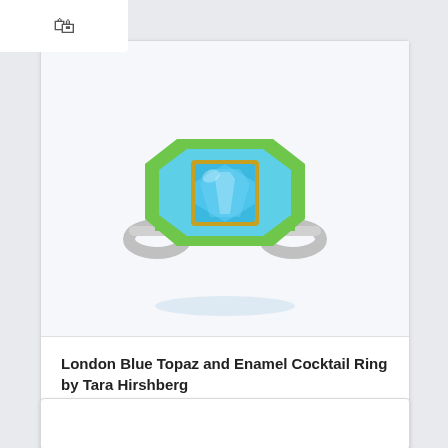[Figure (photo): A cocktail ring featuring a bright blue topaz gemstone set in gold, surrounded by light blue enamel with a green enamel octagonal border. The band has diagonal green and white stripes with blue enamel triangle accents on either side. The ring is photographed on a white background with a faint reflection.]
London Blue Topaz and Enamel Cocktail Ring by Tara Hirshberg
Tara Hirshberg
$3,000.00
View Details